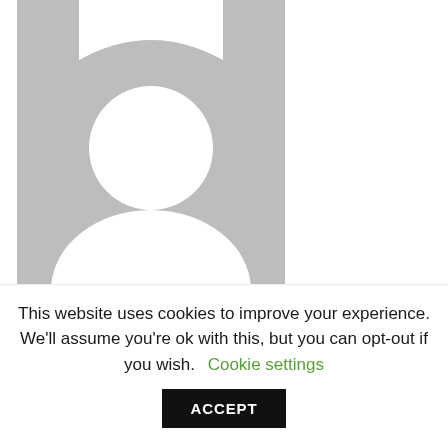[Figure (illustration): Generic placeholder profile photo: grey square background with white silhouette of a person (circle head and rounded shoulder body shape). A white arc/hat shape is visible at the top. Partially cropped on left and top edges.]
(blurred/redacted text line partially visible)
This website uses cookies to improve your experience. We'll assume you're ok with this, but you can opt-out if you wish. Cookie settings ACCEPT